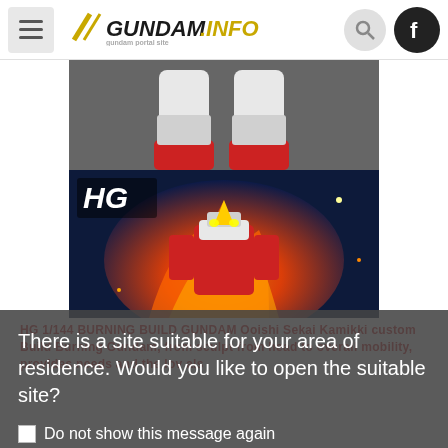GUNDAM.INFO — gundam portal site
[Figure (photo): Gundam robot model photo showing legs and lower body on dark background]
[Figure (photo): HG 1/144 scale Gundam model kit box art with fiery background and Gundam figure]
HG 1/144 BURNING BUILD GUNDAM Ooishi Sekai Kamikki custom Build Burning Gundam, from sculpt from head to overall mobility, provides needs and the lov als
There is a site suitable for your area of residence. Would you like to open the suitable site?
Do not show this message again
Open the suitable site
Close this message